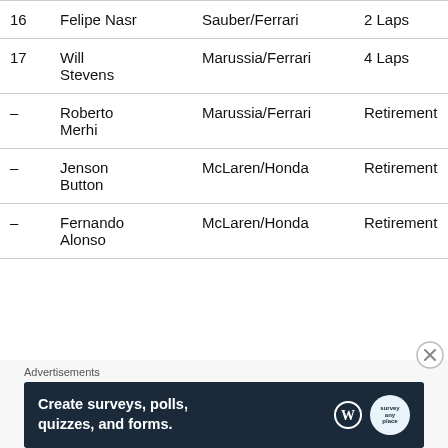| Pos | Driver | Team | Result |
| --- | --- | --- | --- |
| 16 | Felipe Nasr | Sauber/Ferrari | 2 Laps |
| 17 | Will Stevens | Marussia/Ferrari | 4 Laps |
| – | Roberto Merhi | Marussia/Ferrari | Retirement |
| – | Jenson Button | McLaren/Honda | Retirement |
| – | Fernando Alonso | McLaren/Honda | Retirement |
[Figure (screenshot): Advertisement banner: 'Create surveys, polls, quizzes, and forms.' with WordPress and Survey Anyplace logos on dark navy background]